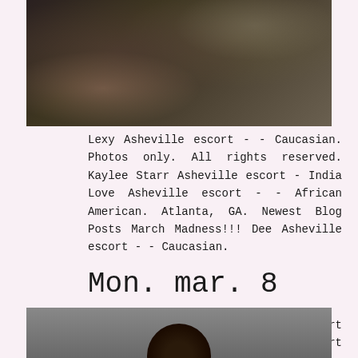[Figure (photo): Dark photograph showing hands near a textured surface, appears to be outdoors]
Lexy Asheville escort - - Caucasian. Photos only. All rights reserved. Kaylee Starr Asheville escort - India Love Asheville escort - - African American. Atlanta, GA. Newest Blog Posts March Madness!!! Dee Asheville escort - - Caucasian.
Mon. mar. 8
Add an escort. Holly Asheville escort - - Caucasian. Keoki Asheville escort - - Korean. North Carolina Asheville.
[Figure (photo): Partially visible photograph of a person's head with dark hair, cropped at bottom of page]